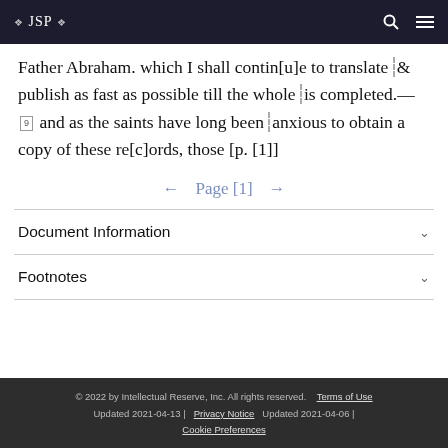❖ JSP ❖
Father Abraham. which I shall contin[u]e to translate & publish as fast as possible till the whole is completed.—[9] and as the saints have long been anxious to obtain a copy of these re[c]ords, those [p. [1]]
← Page [1] →
Document Information
Footnotes
© 2022 by Intellectual Reserve, Inc. All rights reserved.    Terms of Use
Updated 2021-04-13 |    Privacy Notice    Updated 2021-04-06 |
Cookie Preferences